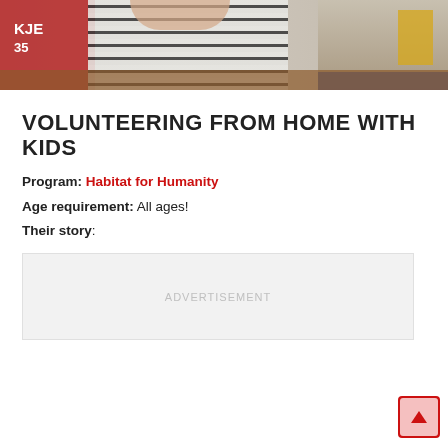[Figure (photo): Photo of children, one wearing a striped shirt and another in a red shirt with 'JE 35' visible, sitting at a table with yellow and blue items in background]
VOLUNTEERING FROM HOME WITH KIDS
Program: Habitat for Humanity
Age requirement: All ages!
Their story:
[Figure (other): Advertisement placeholder box with 'ADVERTISEMENT' label]